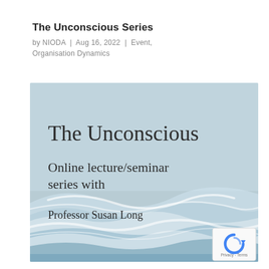The Unconscious Series
by NIODA | Aug 16, 2022 | Event, Organisation Dynamics
[Figure (illustration): Promotional banner for 'The Unconscious Series' — an online lecture/seminar series with Professor Susan Long. Light blue-grey background with flowing white and blue wave motifs at the bottom. Text reads: 'The Unconscious', 'Online lecture/seminar series with', 'Professor Susan Long'. A reCAPTCHA privacy badge appears at the bottom right.]